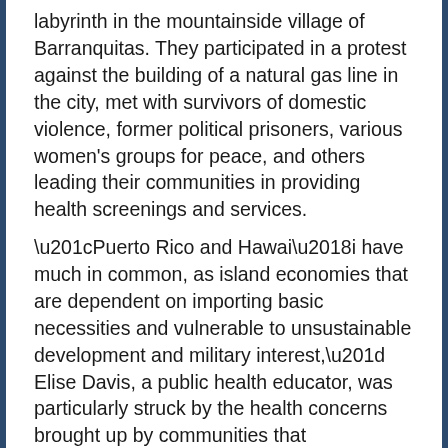labyrinth in the mountainside village of Barranquitas. They participated in a protest against the building of a natural gas line in the city, met with survivors of domestic violence, former political prisoners, various women's groups for peace, and others leading their communities in providing health screenings and services.
“Puerto Rico and Hawai‘i have much in common, as island economies that are dependent on importing basic necessities and vulnerable to unsustainable development and military interest,” Elise Davis, a public health educator, was particularly struck by the health concerns brought up by communities that experienced extensive military weapons testing.
“Vieques has a 27% higher rate of cancer than mainland Puerto Rico, and no one can say with certainty that it is not related to the weapons testing.”
Communities, such as Ceiba, introduced them to the